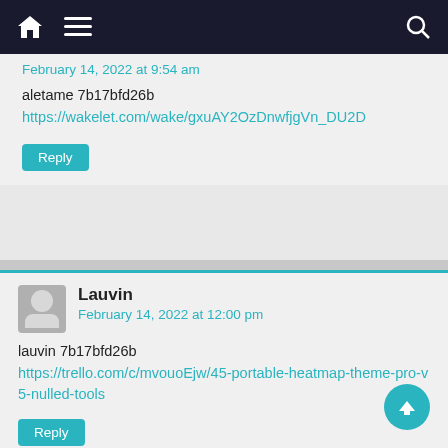Navigation bar with home, menu, and search icons
February 14, 2022 at 9:54 am
aletame 7b17bfd26b
https://wakelet.com/wake/gxuAY2OzDnwfjgVn_DU2D
Reply
Lauvin
February 14, 2022 at 12:00 pm
lauvin 7b17bfd26b
https://trello.com/c/mvouoEjw/45-portable-heatmap-theme-pro-v5-nulled-tools
Reply